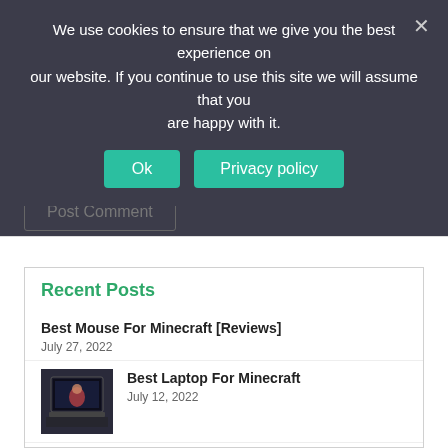We use cookies to ensure that we give you the best experience on our website. If you continue to use this site we will assume that you are happy with it.
Ok
Privacy policy
Post Comment
Recent Posts
Best Mouse For Minecraft [Reviews]
July 27, 2022
Best Laptop For Minecraft
July 12, 2022
Minecraft vs Hytale
June 15, 2022
Minecraft vs Starbound
June 13, 2022